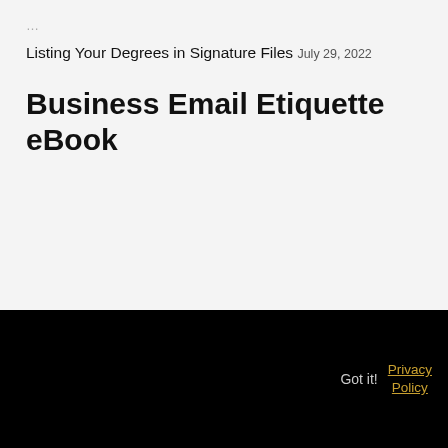Listing Your Degrees in Signature Files July 29, 2022
Business Email Etiquette eBook
Got it!  Privacy Policy